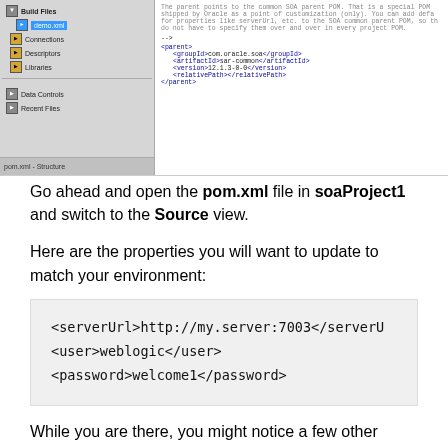[Figure (screenshot): Screenshot of an IDE showing a project tree on the left with items like Build Files, demo.xml, Connections, Descriptors, Libraries, Data Controls, Recent Files, and pom.xml - Structure tab. The right panel shows XML code with comments about parent POM and Oracle customization, followed by XML tags: <parent>, <groupId>com.oracle.soa</groupId>, <artifactId>sar-common</artifactId>, <version>12.1.3-0-0</version>, <relativePath></relativePath>, </parent>.]
Go ahead and open the pom.xml file in soaProject1 and switch to the Source view.
Here are the properties you will want to update to match your environment:
[Figure (screenshot): Code block with grey background showing XML properties: <serverUrl>http://my.server:7003</serverUrl>, <user>weblogic</user>, <password>welcome1</password>]
While you are there, you might notice a few other useful properties you might want later on: